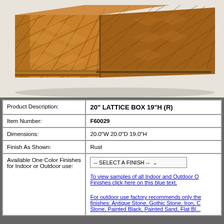[Figure (photo): Close-up photo of a decorative wooden lattice box with diamond/lattice carved pattern on the panels, warm brown rust-colored finish, showing corner angle view]
| Product Description: | 20" LATTICE BOX 19"H (R) |
| Item Number: | F60029 |
| Dimensions: | 20.0"W 20.0"D 19.0"H |
| Finish As Shown: | Rust |
| Available One Color Finishes for Indoor or Outdoor use: | -- SELECT A FINISH --
To view samples of all Indoor and Outdoor One Color Finishes click here on this blue text.
For outdoor use factory recommends only the following finishes: Antique Stone, Gothic Stone, Iron, Charcoal Stone, Painted Black, Painted Sand, Flat Black |